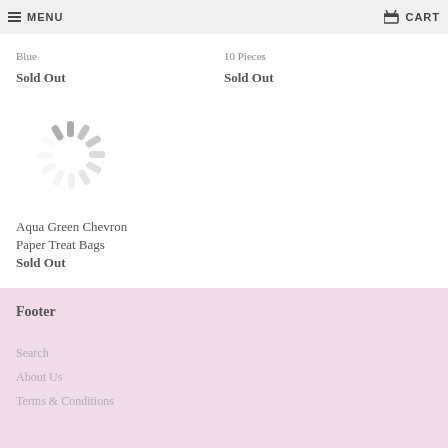MENU | CART
Blue
Sold Out
10 Pieces
Sold Out
[Figure (other): Loading spinner / activity indicator graphic showing gray radiating lines in a circular pattern]
Aqua Green Chevron Paper Treat Bags
Sold Out
Footer
Search
About Us
Terms & Conditions